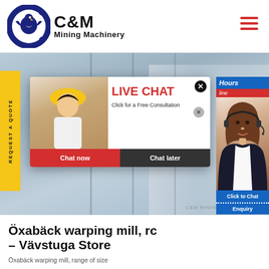[Figure (logo): C&M Mining Machinery logo with eagle gear icon in dark blue circle, bold black text C&M and Mining Machinery beneath]
[Figure (photo): Website screenshot showing C&M Mining Machinery page with a live chat popup overlay on an industrial background with workers in yellow hard hats. A customer service agent photo is on the right side. Bottom shows partial title text.]
Öxabäck warping mill, rc - Vävstuga Store
Öxabäck warping mill, range of size